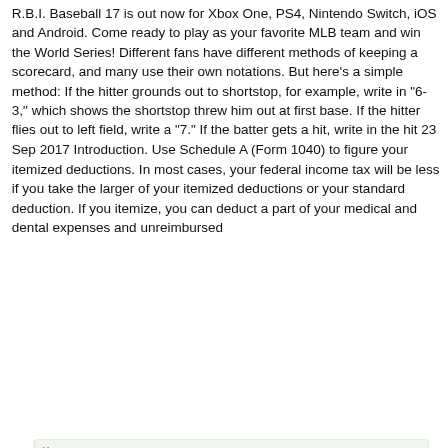R.B.I. Baseball 17 is out now for Xbox One, PS4, Nintendo Switch, iOS and Android. Come ready to play as your favorite MLB team and win the World Series! Different fans have different methods of keeping a scorecard, and many use their own notations. But here's a simple method: If the hitter grounds out to shortstop, for example, write in "6-3," which shows the shortstop threw him out at first base. If the hitter flies out to left field, write a "7." If the batter gets a hit, write in the hit 23 Sep 2017 Introduction. Use Schedule A (Form 1040) to figure your itemized deductions. In most cases, your federal income tax will be less if you take the larger of your itemized deductions or your standard deduction. If you itemize, you can deduct a part of your medical and dental expenses and unreimbursed
Код:
http://jlrftwj.forumsvn.com/viewtopic.php?id=10
0
Страница:  1
Рейтинг форумов | Создать форум бесплатно